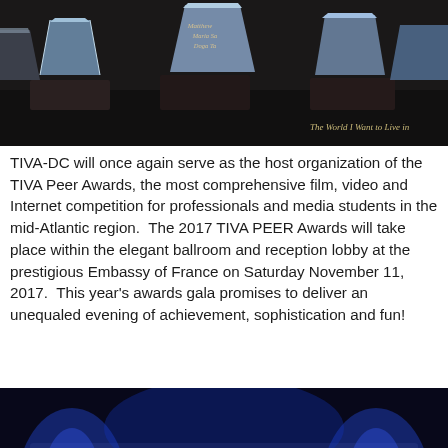[Figure (photo): Close-up photo of crystal/glass award trophies on dark bases, with engraved names including Matthew, Maria, Doga, and text 'The World I Want to Live in']
TIVA-DC will once again serve as the host organization of the TIVA Peer Awards, the most comprehensive film, video and Internet competition for professionals and media students in the mid-Atlantic region.  The 2017 TIVA PEER Awards will take place within the elegant ballroom and reception lobby at the prestigious Embassy of France on Saturday November 11, 2017.  This year's awards gala promises to deliver an unequaled evening of achievement, sophistication and fun!
[Figure (photo): Night-time exterior photo of a building with blue uplighting, large illuminated TIVA logo sign reading 'Television Internet & Video Association', with people visible at the entrance]